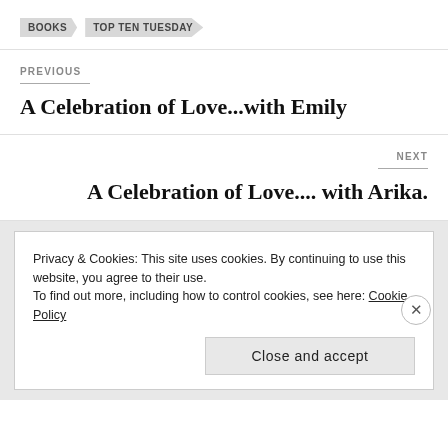BOOKS  TOP TEN TUESDAY
PREVIOUS
A Celebration of Love...with Emily
NEXT
A Celebration of Love.... with Arika.
Privacy & Cookies: This site uses cookies. By continuing to use this website, you agree to their use.
To find out more, including how to control cookies, see here: Cookie Policy
Close and accept